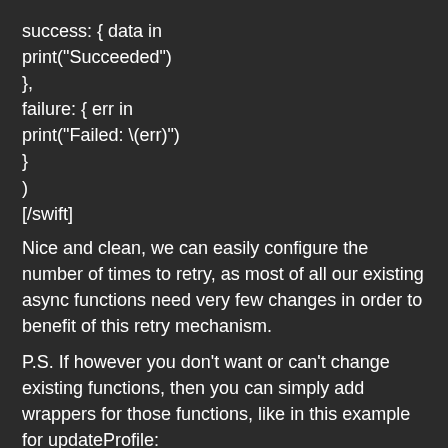success: { data in
print("Succeeded")
},
failure: { err in
print("Failed: \(err)")
}
)
[/swift]
Nice and clean, we can easily configure the number of times to retry, as most of all our existing async functions need very few changes in order to benefit of this retry mechanism.
P.S. If however you don’t want or can’t change existing functions, then you can simply add wrappers for those functions, like in this example for updateProfile:
[swift gutter="false"]